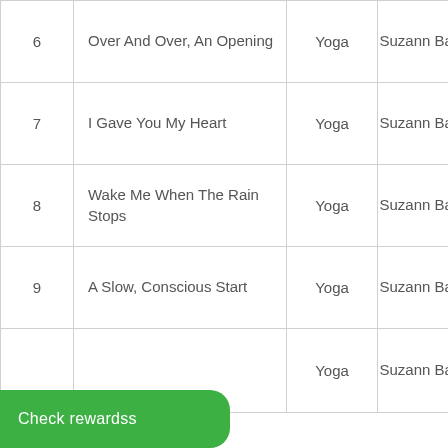| # | Title | Genre | Artist |
| --- | --- | --- | --- |
| 6 | Over And Over, An Opening | Yoga | Suzann Bain |
| 7 | I Gave You My Heart | Yoga | Suzann Bain |
| 8 | Wake Me When The Rain Stops | Yoga | Suzann Bain |
| 9 | A Slow, Conscious Start | Yoga | Suzann Bain |
|  |  | Yoga | Suzann Bain |